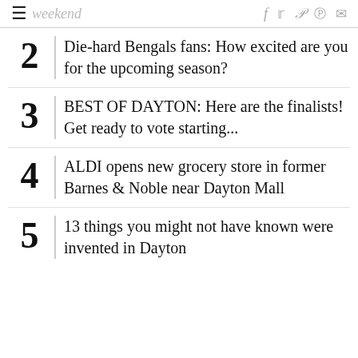≡ weekend  f  twitter  pinterest  reddit  mail
2 Die-hard Bengals fans: How excited are you for the upcoming season?
3 BEST OF DAYTON: Here are the finalists! Get ready to vote starting...
4 ALDI opens new grocery store in former Barnes & Noble near Dayton Mall
5 13 things you might not have known were invented in Dayton